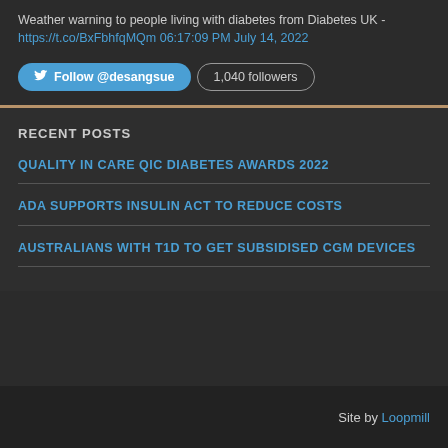Weather warning to people living with diabetes from Diabetes UK - https://t.co/BxFbhfqMQm 06:17:09 PM July 14, 2022
Follow @desangsue  1,040 followers
RECENT POSTS
QUALITY IN CARE QIC DIABETES AWARDS 2022
ADA SUPPORTS INSULIN ACT TO REDUCE COSTS
AUSTRALIANS WITH T1D TO GET SUBSIDISED CGM DEVICES
Site by Loopmill